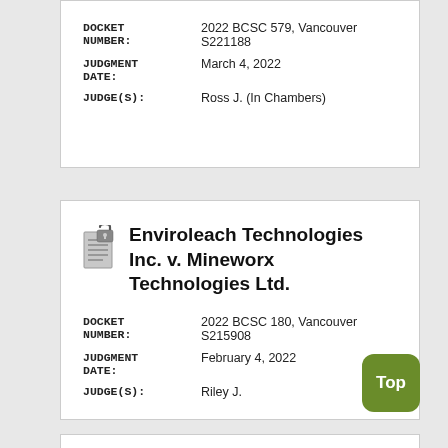| DOCKET NUMBER: | 2022 BCSC 579, Vancouver S221188 |
| JUDGMENT DATE: | March 4, 2022 |
| JUDGE(S): | Ross J. (In Chambers) |
Enviroleach Technologies Inc. v. Mineworx Technologies Ltd.
| DOCKET NUMBER: | 2022 BCSC 180, Vancouver S215908 |
| JUDGMENT DATE: | February 4, 2022 |
| JUDGE(S): | Riley J. |